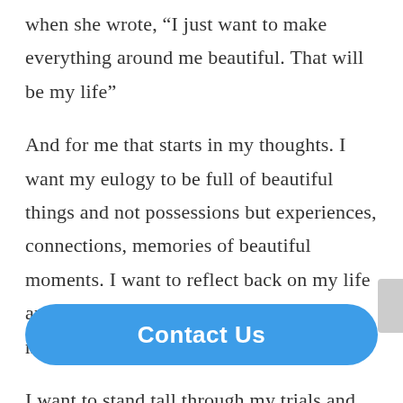when she wrote, “I just want to make everything around me beautiful. That will be my life”
And for me that starts in my thoughts. I want my eulogy to be full of beautiful things and not possessions but experiences, connections, memories of beautiful moments. I want to reflect back on my life and see how I savored each and every minute of my personal mortal journey.
I want to stand tall through my trials and adversity li... it.
Contact Us